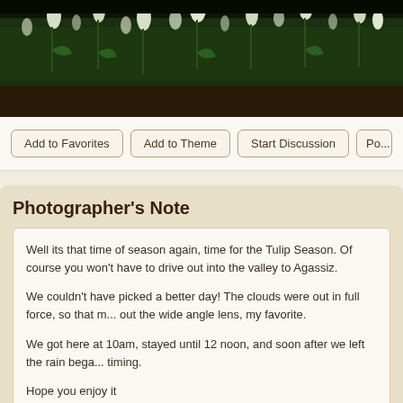[Figure (photo): Top portion of a tulip field photo showing white/green tulips against a dark background]
Add to Favorites   Add to Theme   Start Discussion   Po...
Photographer's Note
Well its that time of season again, time for the Tulip Season. Of course you won't have to drive out into the valley to Agassiz.

We couldn't have picked a better day! The clouds were out in full force, so that m... out the wide angle lens, my favorite.

We got here at 10am, stayed until 12 noon, and soon after we left the rain bega... timing.

Hope you enjoy it
jjcordier, Indrasish, delpeoples, dip, cornejo, jhm, Romano46, ikeharel, Sm... puntuado esta nota como útil.